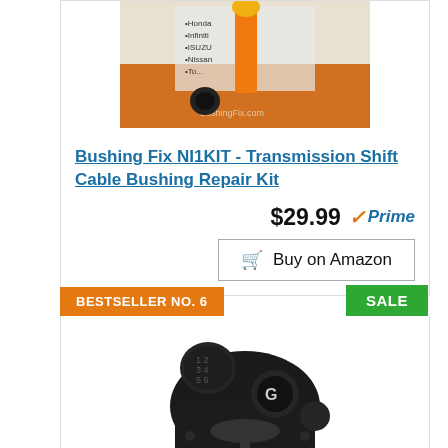[Figure (photo): Product photo of Bushing Fix NI1KIT transmission shift cable bushing repair kit with orange tool and packaging]
Bushing Fix NI1KIT - Transmission Shift Cable Bushing Repair Kit
$29.99 Prime
Buy on Amazon
BESTSELLER NO. 6
SALE
[Figure (photo): Product photo of Logitech driving force shifter for racing games, black gear shift peripheral]